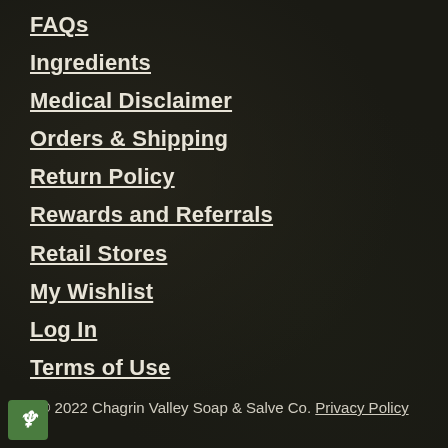FAQs
Ingredients
Medical Disclaimer
Orders & Shipping
Return Policy
Rewards and Referrals
Retail Stores
My Wishlist
Log In
Terms of Use
© 2022 Chagrin Valley Soap & Salve Co. Privacy Policy